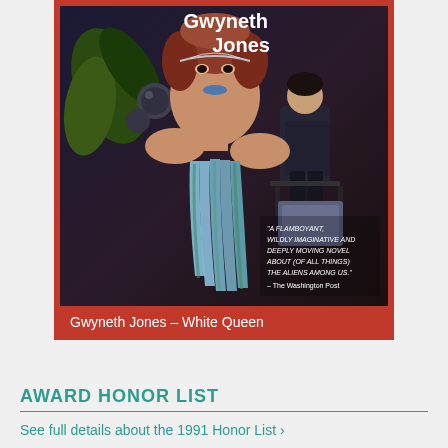[Figure (illustration): Book cover of 'White Queen' by Gwyneth Jones. Dark background with a stylized woman in a futuristic striped dress and a man sitting in the background. Red border frame.]
Gwyneth Jones – White Queen
AWARD HONOR LIST
See full details about the 1991 Honor List ›